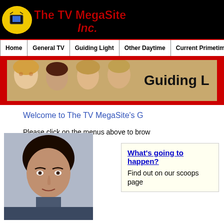The TV MegaSite Inc.
[Figure (illustration): Navigation bar with menu items: Home, General TV, Guiding Light, Other Daytime, Current Primetime Sho...]
[Figure (illustration): Guiding Light soap opera banner with cast photos and 'Guiding L' text on tan background inside red band]
Welcome to The TV MegaSite's G
Please click on the menus above to brow
[Figure (photo): Headshot of a dark-haired male actor against a blurred background]
What's going to happen? Find out on our scoops page